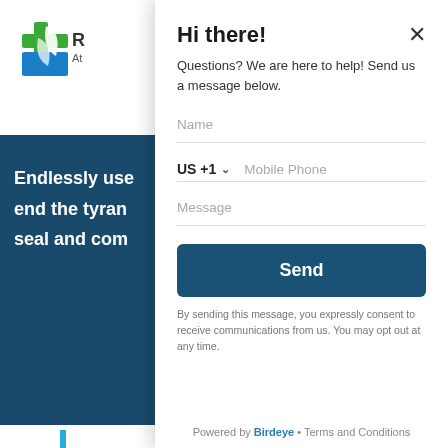[Figure (logo): Green and blue cross/leaf logo with partial company name visible]
Endlessly use
end the tyran
seal and com
Hi there!
Questions? We are here to help! Send us a message below.
Name
US +1   Mobile Phone
Message
Send
By sending this message, you expressly consent to receive communications from us. You may opt out at any time.
Powered by Birdeye • Terms and Conditions